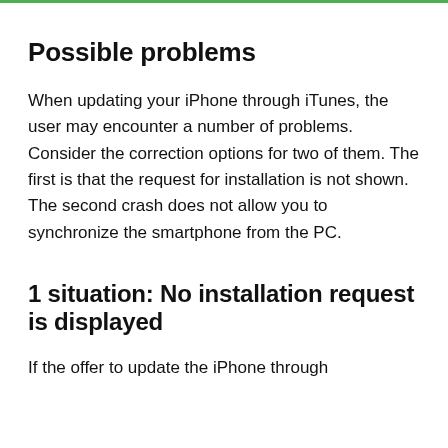Possible problems
When updating your iPhone through iTunes, the user may encounter a number of problems. Consider the correction options for two of them. The first is that the request for installation is not shown. The second crash does not allow you to synchronize the smartphone from the PC.
1 situation: No installation request is displayed
If the offer to update the iPhone through